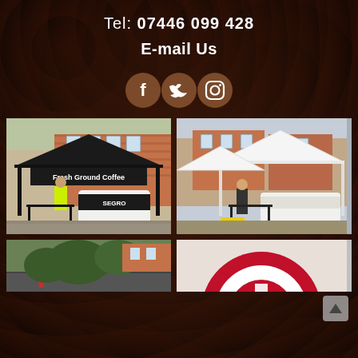Tel: 07446 099 428
E-mail Us
[Figure (illustration): Three circular social media icon buttons (Facebook, Twitter, Instagram) on dark brown background]
[Figure (photo): Mobile coffee cart with black tent reading 'Fresh Ground Coffee' and SEGRO branding, person in hi-vis jacket standing beside it, brick building in background]
[Figure (photo): Mobile coffee cart (white van/trailer) under white canopy tent at outdoor event, person standing beside table, red brick buildings in background]
[Figure (photo): Partial photo showing exterior of building with trees]
[Figure (photo): Partial photo showing circular logo/graphic in red and white]